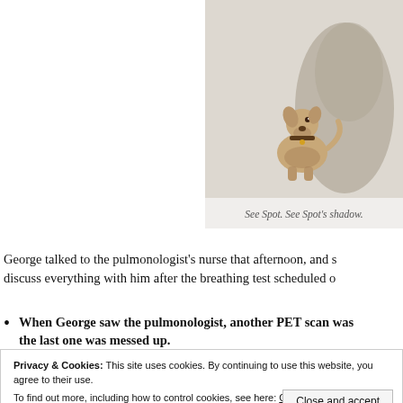[Figure (illustration): Cartoon illustration of a small dog (Spot) sitting and looking up, with a large shadow behind it, on a light beige/grey background]
See Spot. See Spot's shadow.
George talked to the pulmonologist's nurse that afternoon, and s… discuss everything with him after the breathing test scheduled o…
When George saw the pulmonologist, another PET scan was… the last one was messed up.
Privacy & Cookies: This site uses cookies. By continuing to use this website, you agree to their use.
To find out more, including how to control cookies, see here: Cookie Policy
Close and accept
Follow